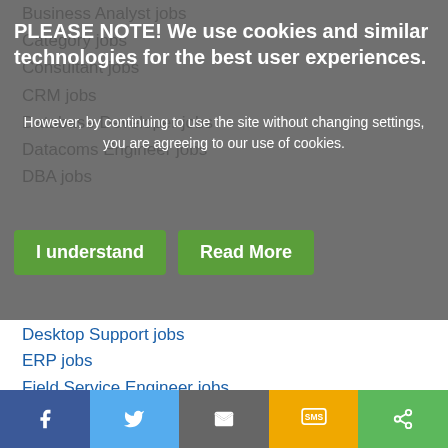Business Analyst jobs
Category jobs
Consultant jobs
CRM jobs
Database Developer jobs
Datacoms Engineer jobs
DBA jobs
PLEASE NOTE! We use cookies and similar technologies for the best user experiences.
However, by continuing to use the site without changing settings, you are agreeing to our use of cookies.
Desktop Support jobs
ERP jobs
Field Service Engineer jobs
Functional Consultant jobs
Computers jobs
Hardware Engineer jobs
Installation/Rollout Engineer jobs
Internet jobs
IT Sales/Post Sales Support jobs
IT Sales/Pre Sales Support jobs
Information Technology jobs